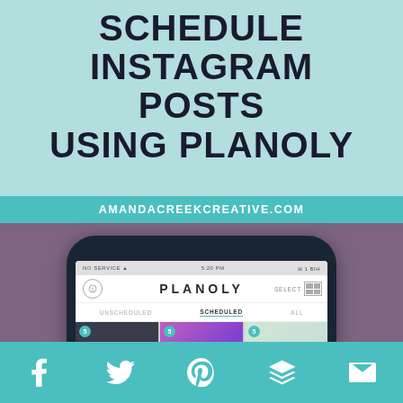SCHEDULE INSTAGRAM POSTS USING PLANOLY
AMANDACREEKCREATIVE.COM
[Figure (screenshot): A smartphone mockup showing the PLANOLY app interface with the Scheduled tab selected and a grid of Instagram photos displayed.]
[Figure (infographic): Social media share bar at the bottom with Facebook, Twitter, Pinterest, Buffer/layers, and email icons in white on teal background.]